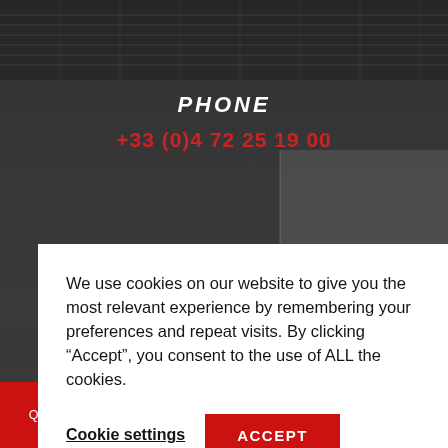[Figure (photo): Dark industrial background showing metal panels and equipment, partially visible industrial machinery with JACOMA branding]
PHONE
+33 (0)4 72 25 19 00
We use cookies on our website to give you the most relevant experience by remembering your preferences and repeat visits. By clicking “Accept”, you consent to the use of ALL the cookies.
Cookie settings
ACCEPT
Reject All
Quote
Resources
Call-Back
Distributors